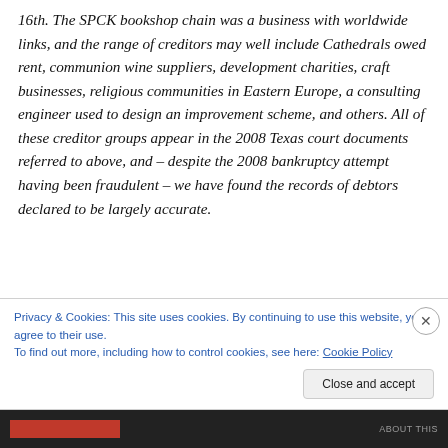16th. The SPCK bookshop chain was a business with worldwide links, and the range of creditors may well include Cathedrals owed rent, communion wine suppliers, development charities, craft businesses, religious communities in Eastern Europe, a consulting engineer used to design an improvement scheme, and others. All of these creditor groups appear in the 2008 Texas court documents referred to above, and – despite the 2008 bankruptcy attempt having been fraudulent – we have found the records of debtors declared to be largely accurate.
Privacy & Cookies: This site uses cookies. By continuing to use this website, you agree to their use.
To find out more, including how to control cookies, see here: Cookie Policy
Close and accept